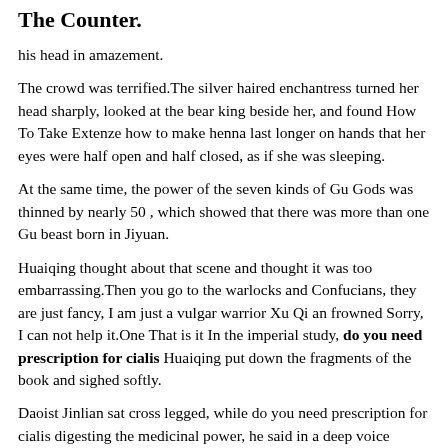The Counter.
his head in amazement.
The crowd was terrified.The silver haired enchantress turned her head sharply, looked at the bear king beside her, and found How To Take Extenze how to make henna last longer on hands that her eyes were half open and half closed, as if she was sleeping.
At the same time, the power of the seven kinds of Gu Gods was thinned by nearly 50 , which showed that there was more than one Gu beast born in Jiyuan.
Huaiqing thought about that scene and thought it was too embarrassing.Then you go to the warlocks and Confucians, they are just fancy, I am just a vulgar warrior Xu Qi an frowned Sorry, I can not help it.One That is it In the imperial study, do you need prescription for cialis Huaiqing put down the fragments of the book and sighed softly.
Daoist Jinlian sat cross legged, while do you need prescription for cialis digesting the medicinal power, he said in a deep voice Hurry up and heal your wounds, and rush back to see the situation.
What is the name of this lord Ji Yuan asked with a smile.Song Tingfeng That Yin Gong is tone was as cold as his expression.